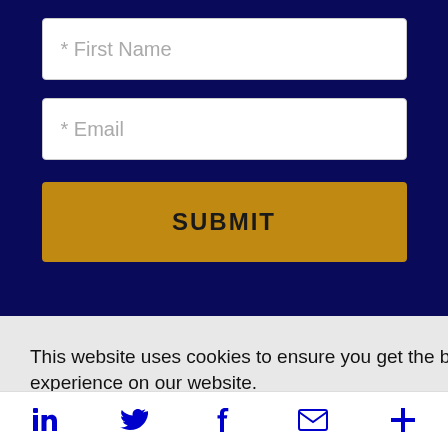* First Name
* Email
SUBMIT
This website uses cookies to ensure you get the best experience on our website.
See our Privacy Policy.
I Accept
s and
of
arted
in  twitter  f  email  +